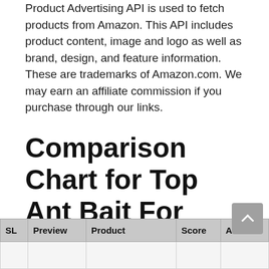Product Advertising API is used to fetch products from Amazon. This API includes product content, image and logo as well as brand, design, and feature information. These are trademarks of Amazon.com. We may earn an affiliate commission if you purchase through our links.
Comparison Chart for Top Ant Bait For Sugar Ants
| SL | Preview | Product | Score | Action |
| --- | --- | --- | --- | --- |
|  |  |  |  |  |